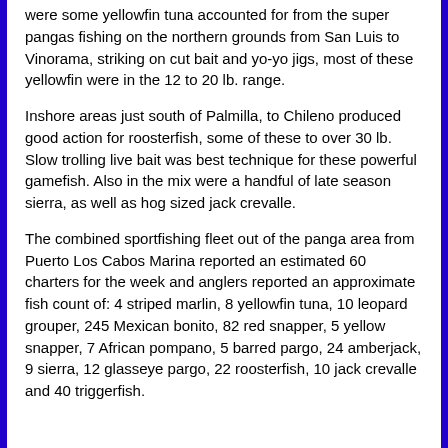were some yellowfin tuna accounted for from the super pangas fishing on the northern grounds from San Luis to Vinorama, striking on cut bait and yo-yo jigs, most of these yellowfin were in the 12 to 20 lb. range.
Inshore areas just south of Palmilla, to Chileno produced good action for roosterfish, some of these to over 30 lb. Slow trolling live bait was best technique for these powerful gamefish. Also in the mix were a handful of late season sierra, as well as hog sized jack crevalle.
The combined sportfishing fleet out of the panga area from Puerto Los Cabos Marina reported an estimated 60 charters for the week and anglers reported an approximate fish count of: 4 striped marlin, 8 yellowfin tuna, 10 leopard grouper, 245 Mexican bonito, 82 red snapper, 5 yellow snapper, 7 African pompano, 5 barred pargo, 24 amberjack, 9 sierra, 12 glasseye pargo, 22 roosterfish, 10 jack crevalle and 40 triggerfish.